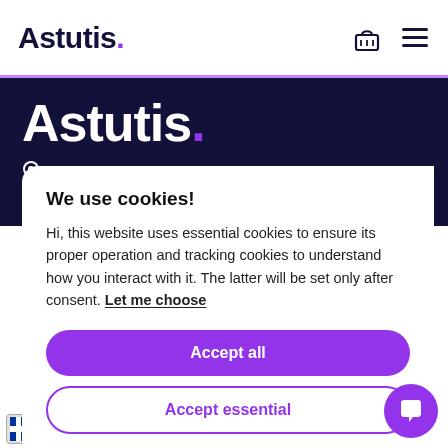Astutis.
Astutis.
6 Charnwood Court,
We use cookies!
Hi, this website uses essential cookies to ensure its proper operation and tracking cookies to understand how you interact with it. The latter will be set only after consent. Let me choose
Accept all
Accept essential